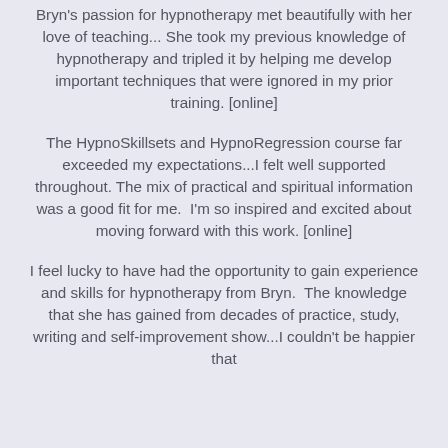Bryn's passion for hypnotherapy met beautifully with her love of teaching... She took my previous knowledge of hypnotherapy and tripled it by helping me develop important techniques that were ignored in my prior training. [online]
The HypnoSkillsets and HypnoRegression course far exceeded my expectations...I felt well supported throughout. The mix of practical and spiritual information was a good fit for me.  I'm so inspired and excited about moving forward with this work. [online]
I feel lucky to have had the opportunity to gain experience and skills for hypnotherapy from Bryn.  The knowledge that she has gained from decades of practice, study, writing and self-improvement show...I couldn't be happier that